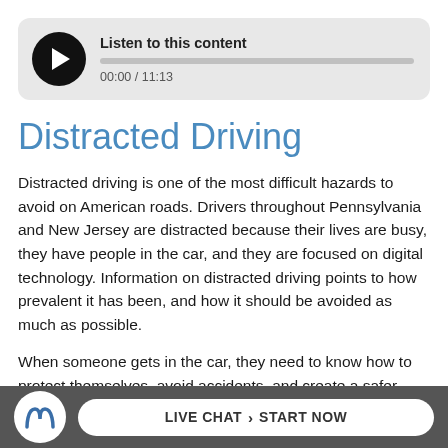[Figure (screenshot): Audio player widget with play button, progress bar, and time display showing 00:00 / 11:13 and label 'Listen to this content']
Distracted Driving
Distracted driving is one of the most difficult hazards to avoid on American roads. Drivers throughout Pennsylvania and New Jersey are distracted because their lives are busy, they have people in the car, and they are focused on digital technology. Information on distracted driving points to how prevalent it has been, and how it should be avoided as much as possible.
When someone gets in the car, they need to know how to protect themselves, avoid accidents, and create a safer
[Figure (logo): Law firm logo and Live Chat / Start Now CTA button in footer bar]